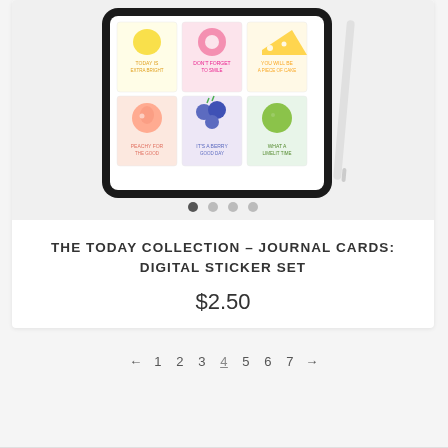[Figure (screenshot): A tablet device displaying a grid of cute fruit character sticker cards (peach, blueberries, lime, lemon, donut, cheese) on screen, with a stylus pen to the right.]
THE TODAY COLLECTION – JOURNAL CARDS: DIGITAL STICKER SET
$2.50
← 1 2 3 4 5 6 7 →